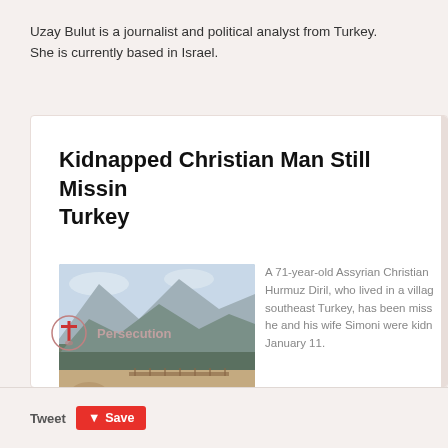Uzay Bulut is a journalist and political analyst from Turkey. She is currently based in Israel.
Kidnapped Christian Man Still Missing in Turkey
[Figure (photo): Landscape photograph showing a coastal scene with rocky mountains in the background, a beach/shoreline, and water in the foreground. The scene appears to be in a Mediterranean or Middle Eastern location.]
A 71-year-old Assyrian Christian Hurmuz Diril, who lived in a village in southeast Turkey, has been missing since he and his wife Simoni were kidnapped on January 11.
Persecution